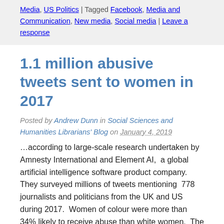Media, US Politics | Tagged Facebook, Media and Communication, New media, Social media | Leave a response
1.1 million abusive tweets sent to women in 2017
Posted by Andrew Dunn in Social Sciences and Humanities Librarians' Blog on January 4, 2019
…according to large-scale research undertaken by Amnesty International and Element AI,  a global artificial intelligence software product company.  They surveyed millions of tweets mentioning  778 journalists and politicians from the UK and US during 2017.  Women of colour were more than 34% likely to receive abuse than white women.  The research also looks at the […]
Posted in Media and Communication, Social Media, Sociology | Tagged Gay equality, New media, Race,